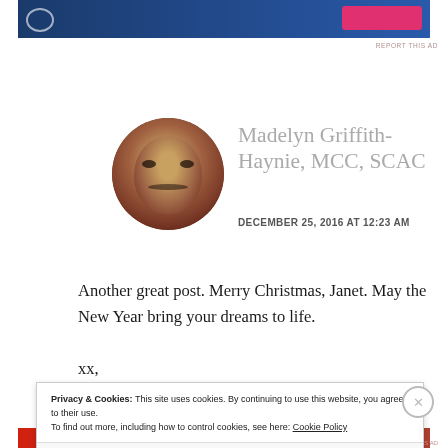[Figure (other): Advertisement banner at top of page with blue background and pink/red button]
REPORT THIS AD
[Figure (photo): Circular profile photo of Madelyn Griffith-Haynie, a woman with dark hair]
Madelyn Griffith-Haynie, MCC, SCAC
DECEMBER 25, 2016 AT 12:23 AM
Another great post. Merry Christmas, Janet. May the New Year bring your dreams to life. xx,
Privacy & Cookies: This site uses cookies. By continuing to use this website, you agree to their use.
To find out more, including how to control cookies, see here: Cookie Policy
Close and accept